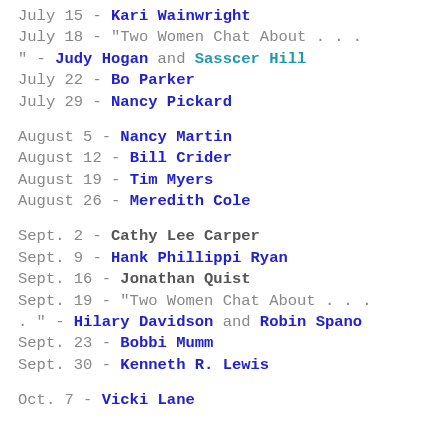July 15 - Kari Wainwright
July 18 - "Two Women Chat About . . . " - Judy Hogan and Sasscer Hill
July 22 - Bo Parker
July 29 - Nancy Pickard
August 5 - Nancy Martin
August 12 - Bill Crider
August 19 - Tim Myers
August 26 - Meredith Cole
Sept. 2 - Cathy Lee Carper
Sept. 9 - Hank Phillippi Ryan
Sept. 16 - Jonathan Quist
Sept. 19 - "Two Women Chat About . . . " - Hilary Davidson and Robin Spano
Sept. 23 - Bobbi Mumm
Sept. 30 - Kenneth R. Lewis
Oct. 7 - Vicki Lane